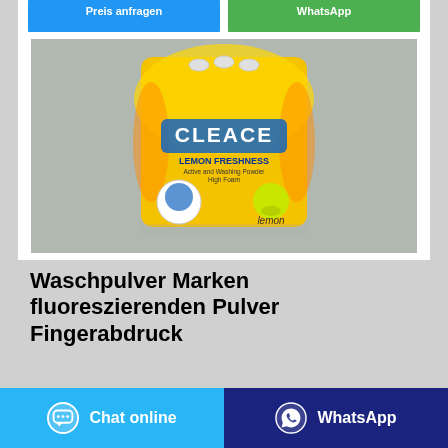[Figure (screenshot): Top partial buttons row: blue 'Preis anfragen' button and green 'WhatsApp' button, partially cropped at top]
[Figure (photo): Product photo of a yellow bag of CLEACE Lemon Freshness washing powder/detergent on a grey background]
Waschpulver Marken fluoreszierenden Pulver Fingerabdruck
Emsa - CavoYar- Waschpulver Marken fluoreszierenden Pulver Fingerabdruck. Perfekt in küche & kuchen backen
[Figure (screenshot): Bottom action buttons: light blue 'Chat online' button with chat bubble icon on left, dark blue 'WhatsApp' button with WhatsApp logo on right]